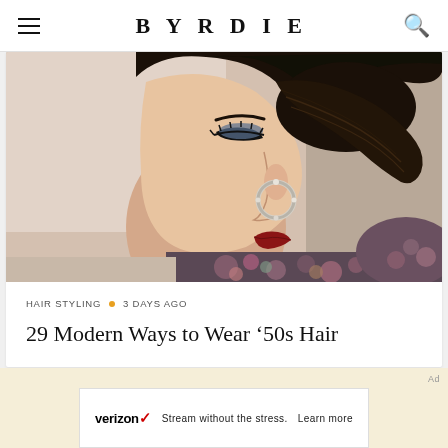BYRDIE
[Figure (photo): Side profile of a young woman with dark hair in an elegant updo, wearing a crystal hoop earring, dramatic eye makeup, red lips, and a floral dress. Beauty/fashion editorial style photograph.]
HAIR STYLING • 3 DAYS AGO
29 Modern Ways to Wear '50s Hair
Ad
[Figure (screenshot): Verizon advertisement banner. Shows Verizon logo with red checkmark, tagline 'Stream without the stress.' and 'Learn more' call to action.]